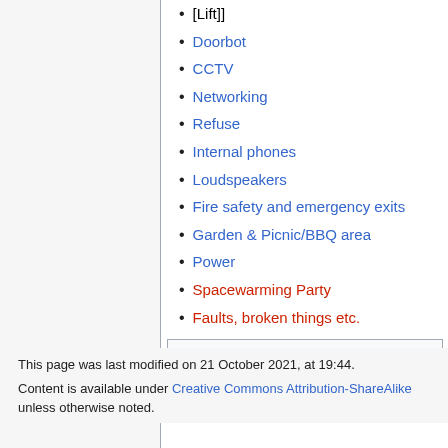[Lift]]
Doorbot
CCTV
Networking
Refuse
Internal phones
Loudspeakers
Fire safety and emergency exits
Garden & Picnic/BBQ area
Power
Spacewarming Party
Faults, broken things etc.
Categories: Premises | Infrastructure
This page was last modified on 21 October 2021, at 19:44. Content is available under Creative Commons Attribution-ShareAlike unless otherwise noted.